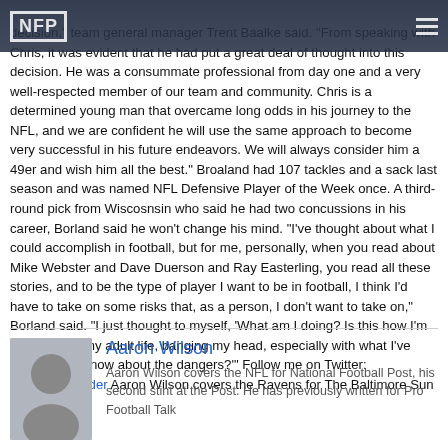NFP
decision," team general manager Trent Baalke said. "From speaking with Chris, it was evident that he had put a great deal of thought into this decision. He was a consummate professional from day one and a very well-respected member of our team and community. Chris is a determined young man that overcame long odds in his journey to the NFL, and we are confident he will use the same approach to become very successful in his future endeavors. We will always consider him a 49er and wish him all the best." Broaland had 107 tackles and a sack last season and was named NFL Defensive Player of the Week once. A third-round pick from Wiscosnsin who said he had two concussions in his career, Borland said he won't change his mind. "I've thought about what I could accomplish in football, but for me, personally, when you read about Mike Webster and Dave Duerson and Ray Easterling, you read all these stories, and to be the type of player I want to be in football, I think I'd have to take on some risks that, as a person, I don't want to take on," Borland said. "I just thought to myself, 'What am I doing? Is this how I'm going to live my adult life, banging my head, especially with what I've learned and know about the dangers?'" Follow me on Twitter: @RavensInsider Aaron Wilson covers the Ravens for The Baltimore Sun
Aaron Wilson
Aaron Wilson covers the NFL for National Football Post, his second stint at the Post. He has previously written for Pro Football Talk